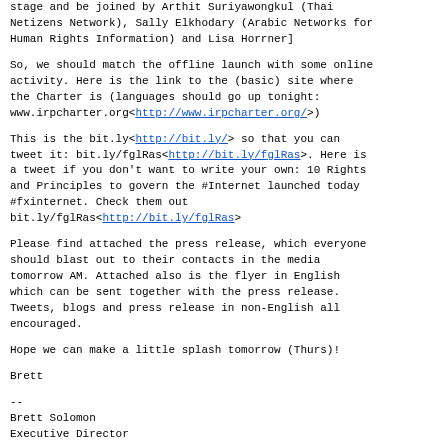stage and be joined by Arthit Suriyawongkul (Thai Netizens Network), Sally Elkhodary (Arabic Networks for Human Rights Information) and Lisa Horrner]
So, we should match the offline launch with some online activity. Here is the link to the (basic) site where the Charter is (languages should go up tonight: www.irpcharter.org<http://www.irpcharter.org/>)
This is the bit.ly<http://bit.ly/> so that you can tweet it: bit.ly/fglRas<http://bit.ly/fglRas>. Here is a tweet if you don't want to write your own: 10 Rights and Principles to govern the #Internet launched today #fxinternet. Check them out bit.ly/fglRas<http://bit.ly/fglRas>
Please find attached the press release, which everyone should blast out to their contacts in the media tomorrow AM. Attached also is the flyer in English which can be sent together with the press release. Tweets, blogs and press release in non-English all encouraged.
Hope we can make a little splash tomorrow (Thurs)!
Brett
--
Brett Solomon
Executive Director